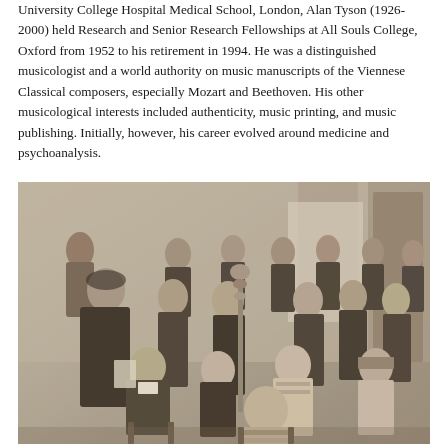University College Hospital Medical School, London, Alan Tyson (1926-2000) held Research and Senior Research Fellowships at All Souls College, Oxford from 1952 to his retirement in 1994. He was a distinguished musicologist and a world authority on music manuscripts of the Viennese Classical composers, especially Mozart and Beethoven. His other musicological interests included authenticity, music printing, and music publishing. Initially, however, his career evolved around medicine and psychoanalysis.
[Figure (photo): Black and white photograph of a group of people, many in academic robes, gathered in what appears to be a formal academic ceremony or meeting. A person stands on the left in dark robes, and rows of seated and standing figures in formal attire fill the scene.]